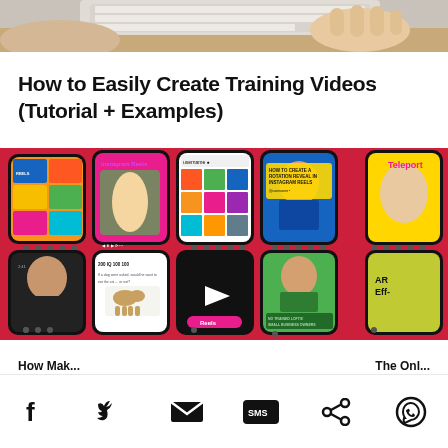[Figure (photo): Person at a desk with a keyboard visible, partial view from above, muted warm tones]
How to Easily Create Training Videos (Tutorial + Examples)
[Figure (photo): Collage of smartphones displaying various social media video apps including Instagram Reels and TikTok-style content, arranged on a red/orange background. One phone shows 'Instagram Reels' label, another shows 'HOW TO CREATE A ROTATION REVEAL IN INSTAGRAM REELS', another shows 'Teleport' branding, another 'AR Effects', and another shows a Reels button.]
Social share icons: Facebook, Twitter, Email, SMS, Share, WhatsApp